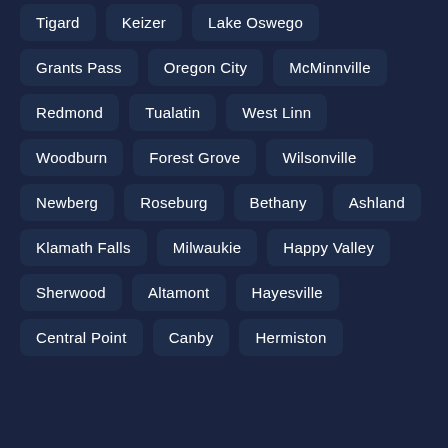Tigard
Keizer
Lake Oswego
Grants Pass
Oregon City
McMinnville
Redmond
Tualatin
West Linn
Woodburn
Forest Grove
Wilsonville
Newberg
Roseburg
Bethany
Ashland
Klamath Falls
Milwaukie
Happy Valley
Sherwood
Altamont
Hayesville
Central Point
Canby
Hermiston